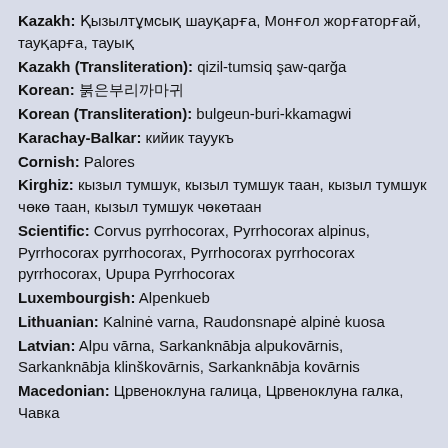Kazakh: Қызылтұмсық шауқарға, Монғол жорғаторғай, тауқарға, тауық
Kazakh (Transliteration): qizil-tumsiq şaw-qarğa
Korean: 붉은부리까마귀
Korean (Transliteration): bulgeun-buri-kkamagwi
Karachay-Balkar: кийик тауукъ
Cornish: Palores
Kirghiz: кызыл тумшук, кызыл тумшук таан, кызыл тумшук чөкө таан, кызыл тумшук чөкөтаан
Scientific: Corvus pyrrhocorax, Pyrrhocorax alpinus, Pyrrhocorax pyrrhocorax, Pyrrhocorax pyrrhocorax pyrrhocorax, Upupa Pyrrhocorax
Luxembourgish: Alpenkueb
Lithuanian: Kalninė varna, Raudonsnapė alpinė kuosa
Latvian: Alpu vārna, Sarkanknābja alpukovārnis, Sarkanknābja klinškovārnis, Sarkanknābja kovārnis
Macedonian: Црвеноклуна галица, Црвеноклуна галка, Чавка